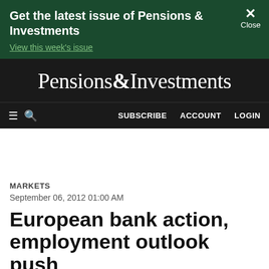Get the latest issue of Pensions & Investments
View this week's issue
Pensions&Investments
≡ Q  SUBSCRIBE  ACCOUNT  LOGIN
MARKETS
September 06, 2012 01:00 AM
European bank action, employment outlook push stocks high...